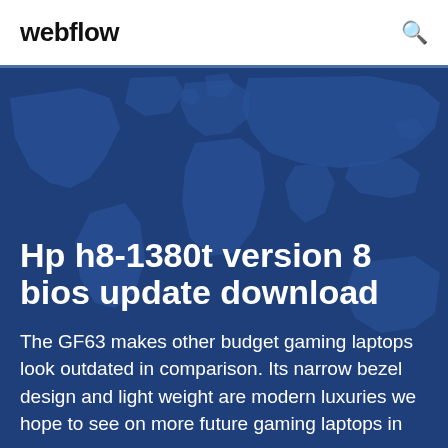webflow
[Figure (illustration): World map illustration with dark blue background and lighter blue continent outlines, used as hero background image]
Hp h8-1380t version 8 bios update download
The GF63 makes other budget gaming laptops look outdated in comparison. Its narrow bezel design and light weight are modern luxuries we hope to see on more future gaming laptops in